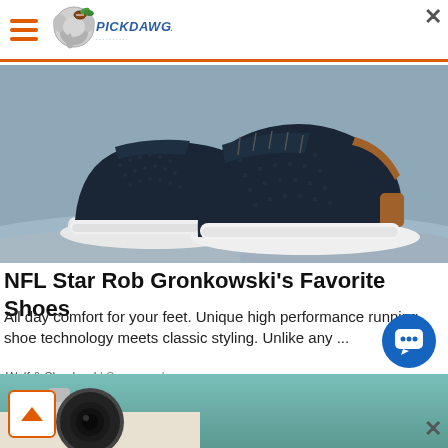PickDawgz — hamburger menu and logo header with orange bottom border
[Figure (photo): Product photo of dark navy/black athletic sneakers with white soles and tan/brown heel accent, displayed on a light grey sandy surface]
NFL Star Rob Gronkowski's Favorite Shoes
All day comfort for your feet. Unique high performance running shoe technology meets classic styling. Unlike any ...
Wolf & Shepherd | Sponsored
[Figure (photo): Bottom strip showing partial view of a security camera on a wall, with teal/green background]
[Figure (illustration): Blue circular chat/support button with white speech bubble icon, bottom right corner]
[Figure (illustration): Orange scroll-up arrow button, bottom left corner]